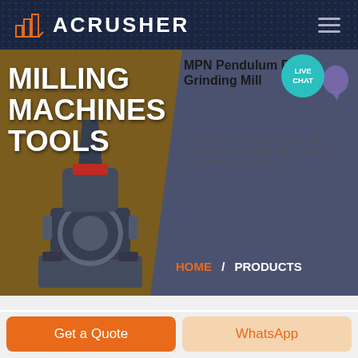ACRUSHER
MILLING MACHINES TOOLS
MPN Pendulum Roller Grinding Mill
Lower operational & maintenance costs, excellent environmental protection, better quality of finished products
HOME / PRODUCTS
[Figure (screenshot): Acrusher website screenshot showing milling machines product page with hero banner, machine image, and navigation breadcrumb]
Get a Quote
WhatsApp